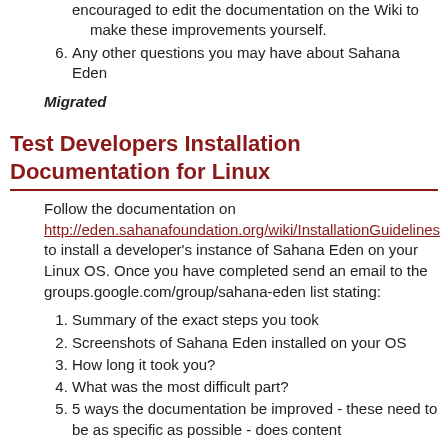encouraged to edit the documentation on the Wiki to make these improvements yourself.
6. Any other questions you may have about Sahana Eden
Migrated
Test Developers Installation Documentation for Linux
Follow the documentation on http://eden.sahanafoundation.org/wiki/InstallationGuidelines to install a developer's instance of Sahana Eden on your Linux OS. Once you have completed send an email to the groups.google.com/group/sahana-eden list stating:
1. Summary of the exact steps you took
2. Screenshots of Sahana Eden installed on your OS
3. How long it took you?
4. What was the most difficult part?
5. 5 ways the documentation be improved - these need to be as specific as possible - does content